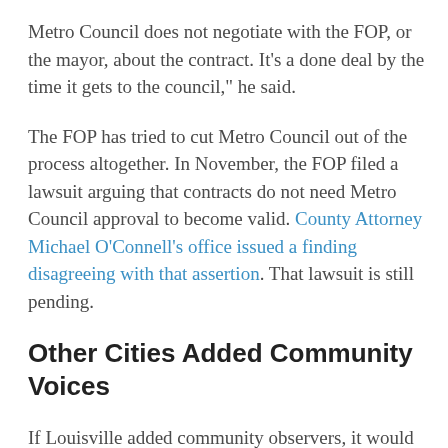Metro Council does not negotiate with the FOP, or the mayor, about the contract. It’s a done deal by the time it gets to the council,” he said.
The FOP has tried to cut Metro Council out of the process altogether. In November, the FOP filed a lawsuit arguing that contracts do not need Metro Council approval to become valid. County Attorney Michael O’Connell’s office issued a finding disagreeing with that assertion. That lawsuit is still pending.
Other Cities Added Community Voices
If Louisville added community observers, it would